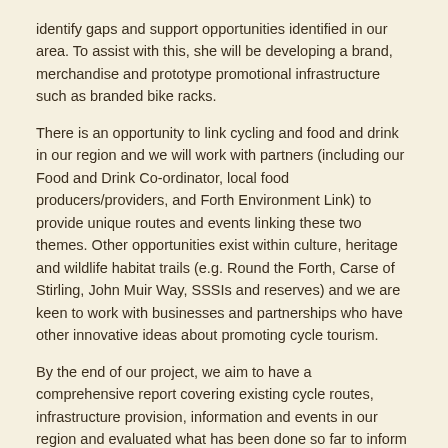identify gaps and support opportunities identified in our area. To assist with this, she will be developing a brand, merchandise and prototype promotional infrastructure such as branded bike racks.
There is an opportunity to link cycling and food and drink in our region and we will work with partners (including our Food and Drink Co-ordinator, local food producers/providers, and Forth Environment Link) to provide unique routes and events linking these two themes. Other opportunities exist within culture, heritage and wildlife habitat trails (e.g. Round the Forth, Carse of Stirling, John Muir Way, SSSIs and reserves) and we are keen to work with businesses and partnerships who have other innovative ideas about promoting cycle tourism.
By the end of our project, we aim to have a comprehensive report covering existing cycle routes, infrastructure provision, information and events in our region and evaluated what has been done so far to inform developments and opportunities going forward.
Short term impact of the project 2018-2020
Increased support for communities, organisations and businesses to develop and promote cycle tourism in Forth Valley Lomond region